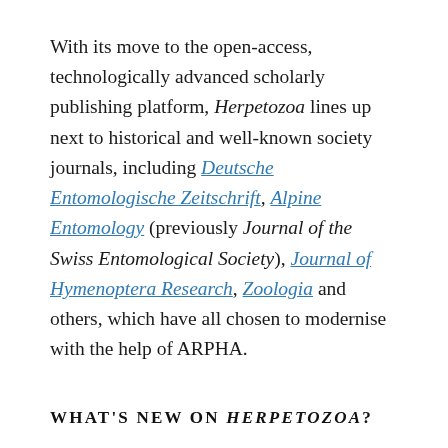With its move to the open-access, technologically advanced scholarly publishing platform, Herpetozoa lines up next to historical and well-known society journals, including Deutsche Entomologische Zeitschrift, Alpine Entomology (previously Journal of the Swiss Entomological Society), Journal of Hymenoptera Research, Zoologia and others, which have all chosen to modernise with the help of ARPHA.
WHAT'S NEW ON HERPETOZOA?
Amongst the first batch of articles published in Herpetozoa in partnership with